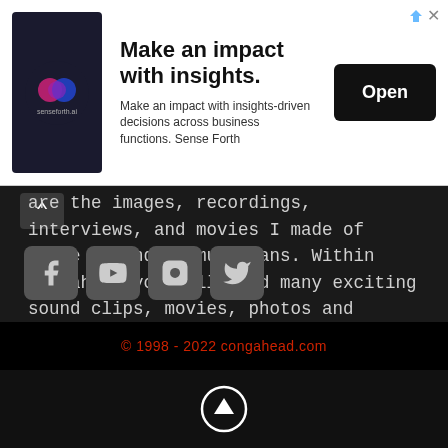[Figure (screenshot): Advertisement banner for senseforth.ai with logo, headline 'Make an impact with insights.', description text, and Open button]
are the images, recordings, interviews, and movies I made of these legendary musicians. Within Congahead you will find many exciting sound clips, movies, photos and interviews from my personal collection. I invite you to join me as I present the most talented musicians of contemporary latin & world music.
[Figure (other): Social media icons: Facebook, YouTube, Instagram, Twitter]
© 1998 - 2022 congahead.com
[Figure (other): Circular up arrow button]